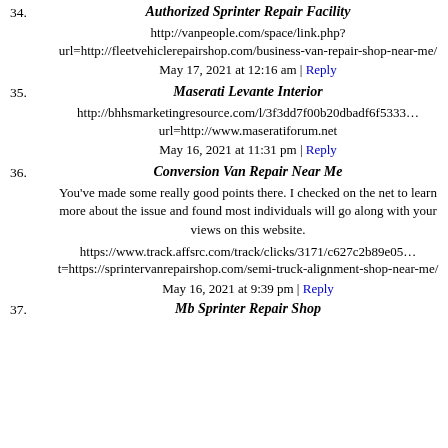34. Authorized Sprinter Repair Facility
http://vanpeople.com/space/link.php?url=http://fleetvehiclerepairshop.com/business-van-repair-shop-near-me/
May 17, 2021 at 12:16 am | Reply
35. Maserati Levante Interior
http://bhhsmarketingresource.com/l/3f3dd7f00b20dbadf6f533...url=http://www.maseratiforum.net
May 16, 2021 at 11:31 pm | Reply
36. Conversion Van Repair Near Me
You've made some really good points there. I checked on the net to learn more about the issue and found most individuals will go along with your views on this website.
https://www.track.affsrc.com/track/clicks/3171/c627c2b89e05...t=https://sprintervanrepairshop.com/semi-truck-alignment-shop-near-me/
May 16, 2021 at 9:39 pm | Reply
37. Mb Sprinter Repair Shop